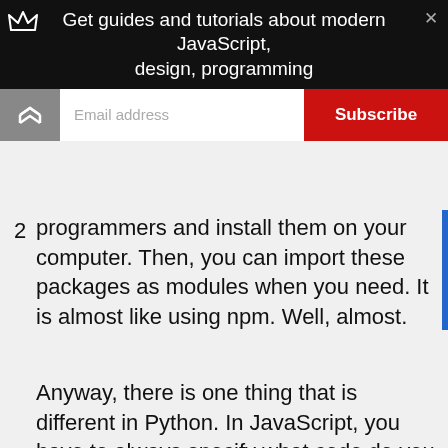Get guides and tutorials about modern JavaScript, design, programming
programmers and install them on your computer. Then, you can import these packages as modules when you need. It is almost like using npm. Well, almost.
Anyway, there is one thing that is different in Python. In JavaScript, you have to always specify what code do you want to export from module. Otherwise, you will not be able to access the code. When you want some function or variable to be available outside the file, you have to export with export statement. Only then you can use import statement and it will work.